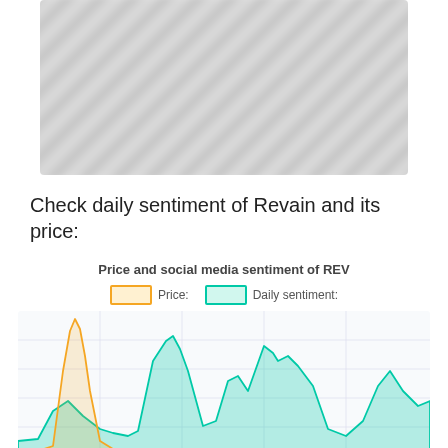[Figure (other): Blurred/redacted content section at top of page]
Check daily sentiment of Revain and its price:
[Figure (area-chart): Area chart showing price (orange) and daily sentiment (teal/green) of REV cryptocurrency over time. Orange line shows a sharp spike early on. Teal area shows multiple peaks across the time range.]